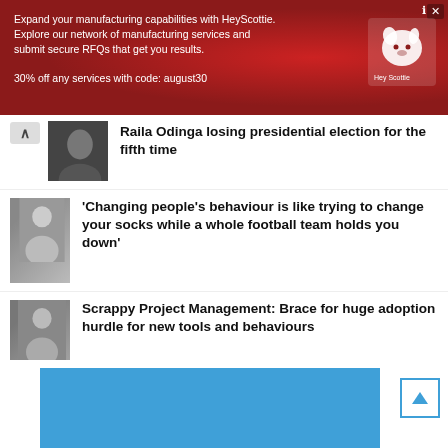[Figure (photo): Red HeyScottie advertisement banner with text about manufacturing capabilities and 30% off code august30, with dog logo]
Raila Odinga losing presidential election for the fifth time
‘Changing people’s behaviour is like trying to change your socks while a whole football team holds you down’
Scrappy Project Management: Brace for huge adoption hurdle for new tools and behaviours
Kenya’s elections agency declares Ruto president-elect at event skipped by his boss President Kenyatta
[Figure (photo): Blue advertisement banner partially visible at bottom of page]